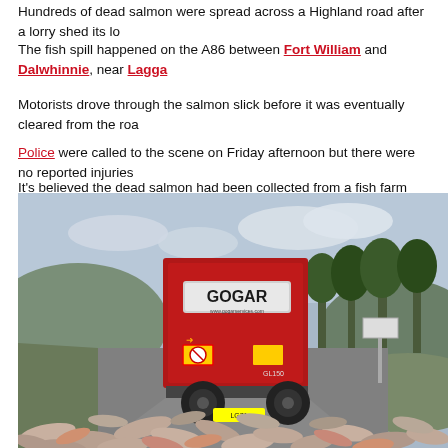Hundreds of dead salmon were spread across a Highland road after a lorry shed its lo...
The fish spill happened on the A86 between Fort William and Dalwhinnie, near Lagga...
Motorists drove through the salmon slick before it was eventually cleared from the roa...
Police were called to the scene on Friday afternoon but there were no reported injuries...
It's believed the dead salmon had been collected from a fish farm earlier
[Figure (photo): A red GOGAR Services lorry driving away on a rural Highland road, with hundreds of dead salmon scattered across the road surface in the foreground. Trees and hills visible in the background.]